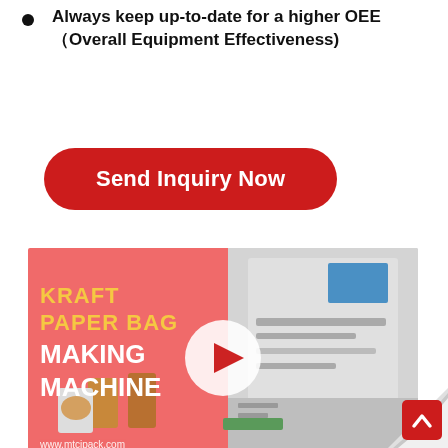Always keep up-to-date for a higher OEE（Overall Equipment Effectiveness)
[Figure (other): Red rounded rectangle button with white bold text 'Send Inquiry Now']
[Figure (screenshot): Video thumbnail for Kraft Paper Bag Making Machine, showing a split image with a pink left panel with yellow and white text 'KRAFT PAPER BAG MAKING MACHINE' and kraft paper bags, and a right panel showing white industrial machine. A play button circle is centered. Website URL www.mtcipack.com shown at bottom left.]
[Figure (other): Page curl decoration at bottom right corner. Red scroll-to-top button with white chevron/arrow icon overlaid on curl.]